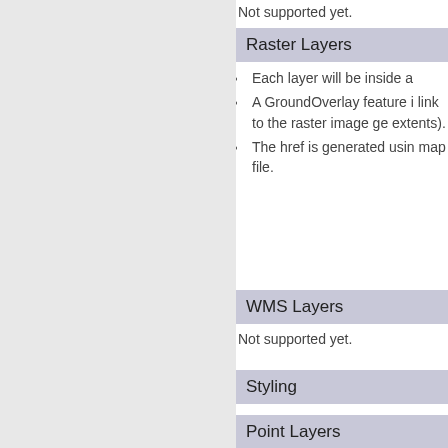Not supported yet.
Raster Layers
Each layer will be inside a
A GroundOverlay feature i link to the raster image ge extents).
The href is generated usin map file.
WMS Layers
Not supported yet.
Styling
As described in Section 4, all diffe the Document level and reference
Point Layers